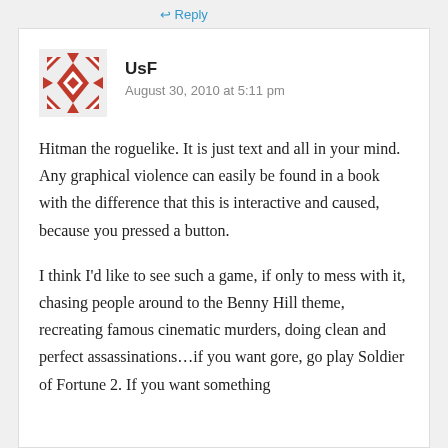↩ Reply
[Figure (illustration): Red decorative cross/diamond pattern avatar icon]
UsF
August 30, 2010 at 5:11 pm
Hitman the roguelike. It is just text and all in your mind. Any graphical violence can easily be found in a book with the difference that this is interactive and caused, because you pressed a button.
I think I'd like to see such a game, if only to mess with it, chasing people around to the Benny Hill theme, recreating famous cinematic murders, doing clean and perfect assassinations…if you want gore, go play Soldier of Fortune 2. If you want something